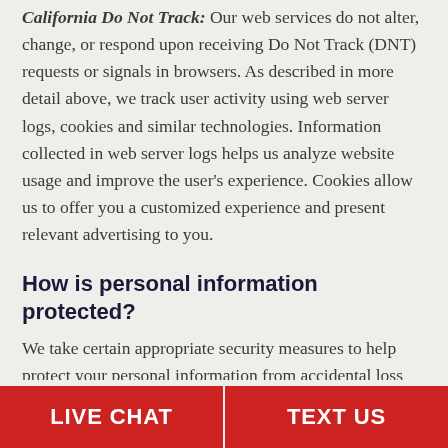California Do Not Track: Our web services do not alter, change, or respond upon receiving Do Not Track (DNT) requests or signals in browsers. As described in more detail above, we track user activity using web server logs, cookies and similar technologies. Information collected in web server logs helps us analyze website usage and improve the user's experience. Cookies allow us to offer you a customized experience and present relevant advertising to you.
How is personal information protected?
We take certain appropriate security measures to help protect your personal information from accidental loss and from unauthorized access, use or disclosure. However, we cannot guarantee that unauthorized persons will always be
LIVE CHAT | TEXT US